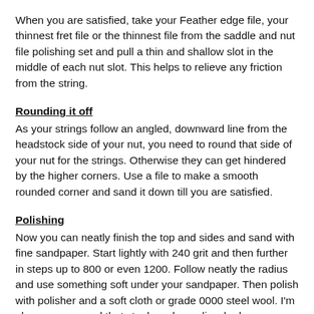When you are satisfied, take your Feather edge file, your thinnest fret file or the thinnest file from the saddle and nut file polishing set and pull a thin and shallow slot in the middle of each nut slot. This helps to relieve any friction from the string.
Rounding it off
As your strings follow an angled, downward line from the headstock side of your nut, you need to round that side of your nut for the strings. Otherwise they can get hindered by the higher corners. Use a file to make a smooth rounded corner and sand it down till you are satisfied.
Polishing
Now you can neatly finish the top and sides and sand with fine sandpaper. Start lightly with 240 grit and then further in steps up to 800 or even 1200. Follow neatly the radius and use something soft under your sandpaper. Then polish with polisher and a soft cloth or grade 0000 steel wool. I'm always concerned that steel wool can discolor bone materials, so I would use steel wool only on darker colored material nuts and of course on aluminum.
Gluing time
You can glue a nut with Titebond, but I prefer thick instant glue.